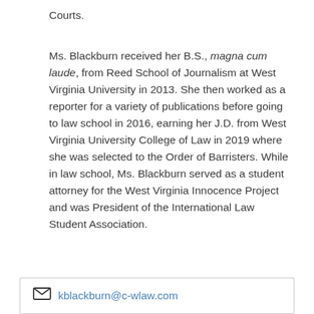Courts.
Ms. Blackburn received her B.S., magna cum laude, from Reed School of Journalism at West Virginia University in 2013.  She then worked as a reporter for a variety of publications before going to law school in 2016, earning her J.D. from West Virginia University College of Law in 2019 where she was selected to the Order of Barristers.  While in law school, Ms. Blackburn served as a student attorney for the West Virginia Innocence Project and was President of the International Law Student Association.
kblackburn@c-wlaw.com